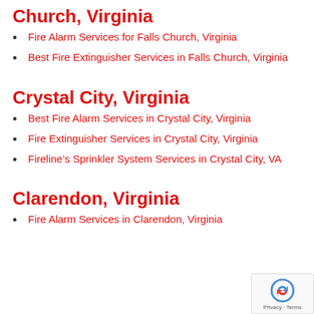Church, Virginia
Fire Alarm Services for Falls Church, Virginia
Best Fire Extinguisher Services in Falls Church, Virginia
Crystal City, Virginia
Best Fire Alarm Services in Crystal City, Virginia
Fire Extinguisher Services in Crystal City, Virginia
Fireline’s Sprinkler System Services in Crystal City, VA
Clarendon, Virginia
Fire Alarm Services in Clarendon, Virginia